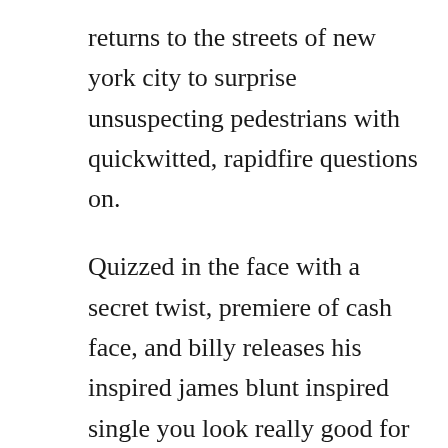returns to the streets of new york city to surprise unsuspecting pedestrians with quickwitted, rapidfire questions on.
Quizzed in the face with a secret twist, premiere of cash face, and billy releases his inspired james blunt inspired single you look really good for you air date. This comedy show still has a lot of popularity in the united states and, therefore, the critics are not sure that the project will be cancelled. Plus, lucy liu plays a brand new game called youre an ahole billy or screw you lucy liu. Bill clinton